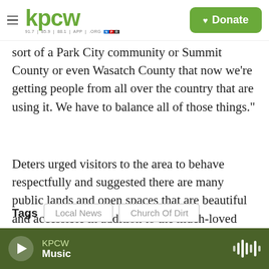KPCW | Donate
sort of a Park City community or Summit County or even Wasatch County that now we're getting people from all over the country that are using it. We have to balance all of those things."
Deters urged visitors to the area to behave respectfully and suggested there are many public lands and open spaces that are beautiful and accessible in addition to the much-loved Church of Dirt.
Tags Local News Church Of Dirt
KPCW Music